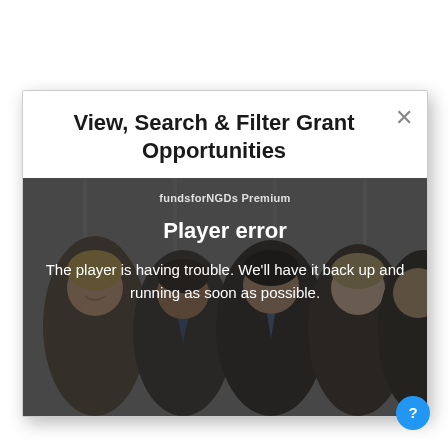View, Search & Filter Grant Opportunities
fundsforNGDs Premium
Player error
The player is having trouble. We'll have it back up and running as soon as possible.
[Figure (screenshot): Video player error screen showing a group of business people in the background with a dark overlay, displaying player error message]